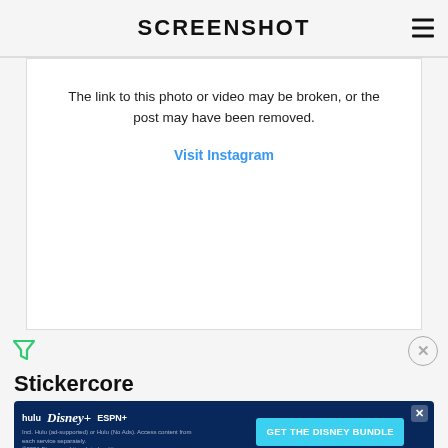SCREENSHOT
[Figure (screenshot): Instagram broken embed placeholder showing 'The link to this photo or video may be broken, or the post may have been removed.' with a 'Visit Instagram' link in blue.]
Stickercore
[Figure (screenshot): Disney Bundle advertisement banner with Hulu, Disney+, ESPN+ logos and 'GET THE DISNEY BUNDLE' CTA button.]
Do you use Instagram and Snapchat filters with face stickers? Candies,